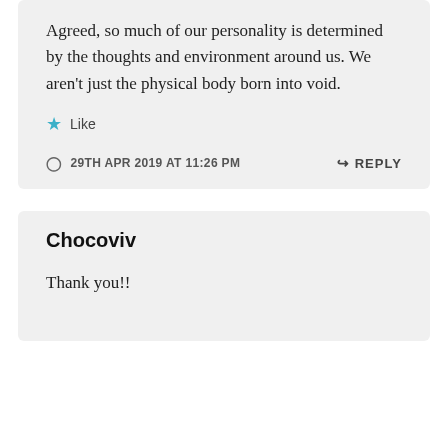Agreed, so much of our personality is determined by the thoughts and environment around us. We aren't just the physical body born into void.
★ Like
29TH APR 2019 AT 11:26 PM
↳ REPLY
Chocoviv
Thank you!!